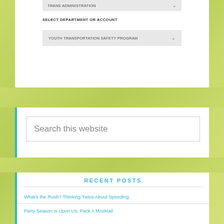TRANS ADMINISTRATION
SELECT DEPARTMENT OR ACCOUNT
YOUTH TRANSPORTATION SAFETY PROGRAM
Search this website
RECENT POSTS
What's the Rush? Thinking Twice About Speeding
Party Season is Upon Us: Pack A Mocktail